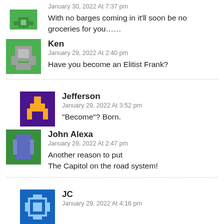January 30, 2022 At 7:37 pm
With no barges coming in it'll soon be no groceries for you......
Ken
January 29, 2022 At 2:40 pm
Have you become an Elitist Frank?
Jefferson
January 29, 2022 At 3:52 pm
“Become”? Born.
John Alexa
January 29, 2022 At 2:47 pm
Another reason to put
The Capitol on the road system!
JC
January 29, 2022 At 4:16 pm